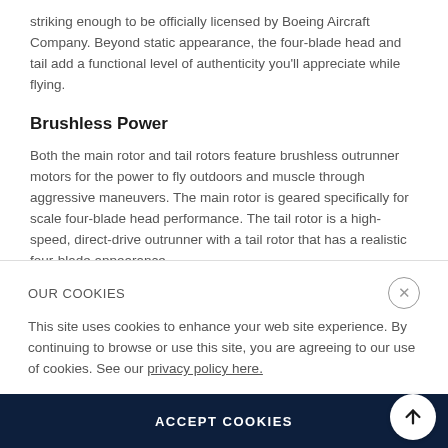striking enough to be officially licensed by Boeing Aircraft Company. Beyond static appearance, the four-blade head and tail add a functional level of authenticity you'll appreciate while flying.
Brushless Power
Both the main rotor and tail rotors feature brushless outrunner motors for the power to fly outdoors and muscle through aggressive maneuvers. The main rotor is geared specifically for scale four-blade head performance. The tail rotor is a high-speed, direct-drive outrunner with a tail rotor that has a realistic four-blade appearance.
Collective Pitch Mechanics
When in use of this use, you are able to use this to use
OUR COOKIES
This site uses cookies to enhance your web site experience. By continuing to browse or use this site, you are agreeing to our use of cookies. See our privacy policy here.
ACCEPT COOKIES